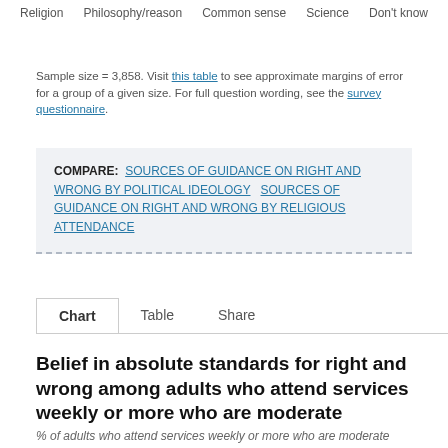Religion   Philosophy/reason   Common sense   Science   Don't know
Sample size = 3,858. Visit this table to see approximate margins of error for a group of a given size. For full question wording, see the survey questionnaire.
COMPARE: SOURCES OF GUIDANCE ON RIGHT AND WRONG BY POLITICAL IDEOLOGY   SOURCES OF GUIDANCE ON RIGHT AND WRONG BY RELIGIOUS ATTENDANCE
Chart   Table   Share
Belief in absolute standards for right and wrong among adults who attend services weekly or more who are moderate
% of adults who attend services weekly or more who are moderate who say...